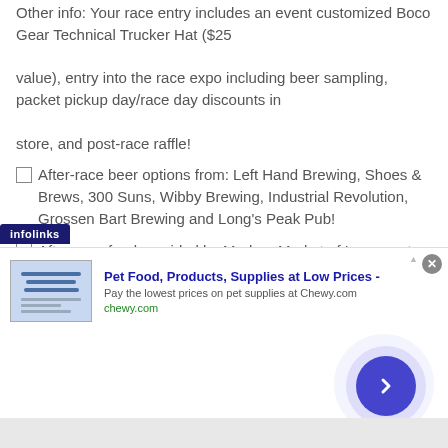Other info: Your race entry includes an event customized Boco Gear Technical Trucker Hat ($25 value), entry into the race expo including beer sampling, packet pickup day/race day discounts in store, and post-race raffle!
After-race beer options from: Left Hand Brewing, Shoes & Brews, 300 Suns, Wibby Brewing, Industrial Revolution, Grossen Bart Brewing and Long's Peak Pub!
After-race food provided by Modern Market of Longmont.
Hydration provided by SOS Rehydrate.
After-race music provided by the talented: Ninety Percent
[Figure (screenshot): Advertisement banner from Infolinks for Chewy.com - Pet Food, Products, Supplies at Low Prices. Shows 'Pay the lowest prices on pet supplies at Chewy.com' with chewy.com URL, a close button, and a navigation chevron button.]